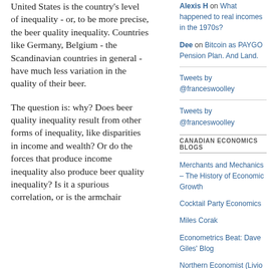United States is the country's level of inequality - or, to be more precise, the beer quality inequality. Countries like Germany, Belgium - the Scandinavian countries in general - have much less variation in the quality of their beer.
The question is: why? Does beer quality inequality result from other forms of inequality, like disparities in income and wealth? Or do the forces that produce income inequality also produce beer quality inequality? Is it a spurious correlation, or is the armchair
Alexis H on What happened to real incomes in the 1970s?
Dee on Bitcoin as PAYGO Pension Plan. And Land.
Tweets by @franceswoolley
Tweets by @franceswoolley
CANADIAN ECONOMICS BLOGS
Merchants and Mechanics – The History of Economic Growth
Cocktail Party Economics
Miles Corak
Econometrics Beat: Dave Giles' Blog
Northern Economist (Livio Di Matteo)
Rescuing the frog (Andrew Leach)
Dollars and Sex
The Cuban Economy – La Economia Cubana
Stephen Williamson